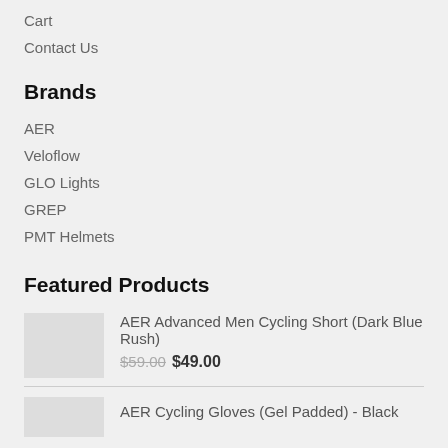Cart
Contact Us
Brands
AER
Veloflow
GLO Lights
GREP
PMT Helmets
Featured Products
AER Advanced Men Cycling Short (Dark Blue Rush)
$59.00 $49.00
AER Cycling Gloves (Gel Padded) - Black